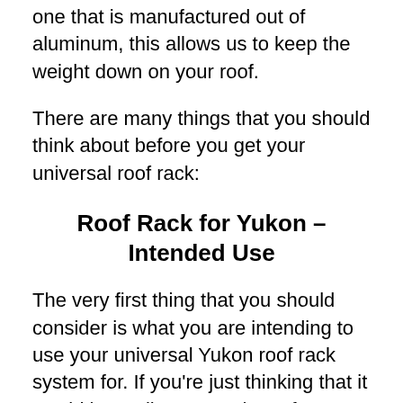one that is manufactured out of aluminum, this allows us to keep the weight down on your roof.
There are many things that you should think about before you get your universal roof rack:
Roof Rack for Yukon – Intended Use
The very first thing that you should consider is what you are intending to use your universal Yukon roof rack system for. If you're just thinking that it would be really great to have for a camping trip or to pick up some unique furniture piece, then you should take a look at Malone's Handirack roof rack